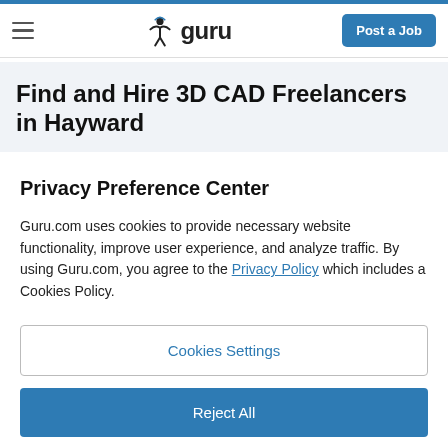guru — Post a Job
Find and Hire 3D CAD Freelancers in Hayward
Privacy Preference Center
Guru.com uses cookies to provide necessary website functionality, improve user experience, and analyze traffic. By using Guru.com, you agree to the Privacy Policy which includes a Cookies Policy.
Cookies Settings
Reject All
Accept All Cookies